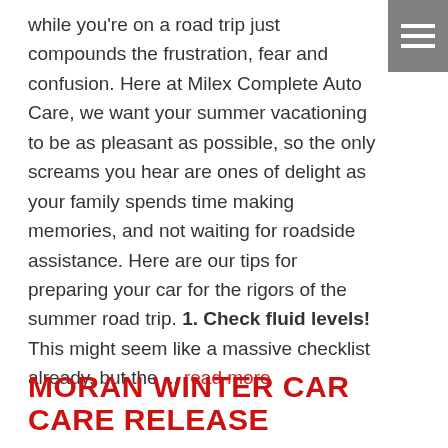[Figure (other): Hamburger menu icon (three white horizontal bars on gray background) in top-right corner]
while you're on a road trip just compounds the frustration, fear and confusion. Here at Milex Complete Auto Care, we want your summer vacationing to be as pleasant as possible, so the only screams you hear are ones of delight as your family spends time making memories, and not waiting for roadside assistance. Here are our tips for preparing your car for the rigors of the summer road trip. 1. Check fluid levels! This might seem like a massive checklist already, but the ... read more
Categories:  Car Care Tips
MORAN WINTER CAR CARE RELEASE